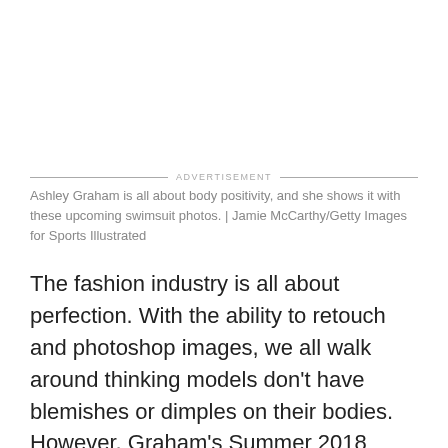Ashley Graham is all about body positivity, and she shows it with these upcoming swimsuit photos. | Jamie McCarthy/Getty Images for Sports Illustrated
The fashion industry is all about perfection. With the ability to retouch and photoshop images, we all walk around thinking models don't have blemishes or dimples on their bodies. However, Graham's Summer 2018 swimwear collection for Swimsuits For All is throwing that all out of the window.